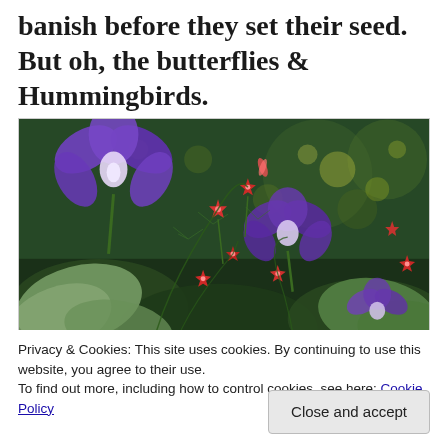banish before they set their seed. But oh, the butterflies & Hummingbirds.
[Figure (photo): Close-up photograph of garden flowers including purple morning glory blooms and small red star-shaped flowers (Cypress vine or similar) against a blurred green bokeh background.]
Privacy & Cookies: This site uses cookies. By continuing to use this website, you agree to their use.
To find out more, including how to control cookies, see here: Cookie Policy
Close and accept